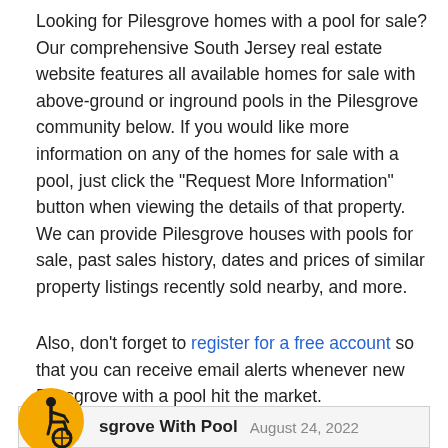Looking for Pilesgrove homes with a pool for sale? Our comprehensive South Jersey real estate website features all available homes for sale with above-ground or inground pools in the Pilesgrove community below. If you would like more information on any of the homes for sale with a pool, just click the "Request More Information" button when viewing the details of that property. We can provide Pilesgrove houses with pools for sale, past sales history, dates and prices of similar property listings recently sold nearby, and more.
Also, don't forget to register for a free account so that you can receive email alerts whenever new Pilesgrove with a pool hit the market.
[Figure (illustration): Orange circular accessibility icon showing a person in a wheelchair]
sgrove With Pool  August 24, 2022